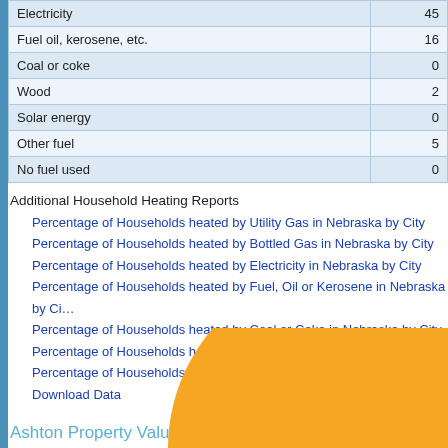|  |  |
| --- | --- |
| Electricity | 45 |
| Fuel oil, kerosene, etc. | 16 |
| Coal or coke | 0 |
| Wood | 2 |
| Solar energy | 0 |
| Other fuel | 5 |
| No fuel used | 0 |
Additional Household Heating Reports
Percentage of Households heated by Utility Gas in Nebraska by City
Percentage of Households heated by Bottled Gas in Nebraska by City
Percentage of Households heated by Electricity in Nebraska by City
Percentage of Households heated by Fuel, Oil or Kerosene in Nebraska by City
Percentage of Households heated by Coal or Coke in Nebraska by City
Percentage of Households heated by Wood in Nebraska by City
Percentage of Households heated by Solar in Nebraska by City
Download Data
Ashton Property Value
[Figure (pie-chart): Partial pie chart (donut/pie) visible at the bottom of the page, showing an orange segment.]